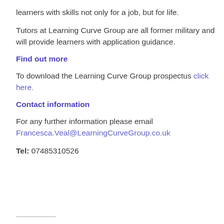learners with skills not only for a job, but for life.
Tutors at Learning Curve Group are all former military and will provide learners with application guidance.
Find out more
To download the Learning Curve Group prospectus click here.
Contact information
For any further information please email Francesca.Veal@LearningCurveGroup.co.uk
Tel: 07485310526